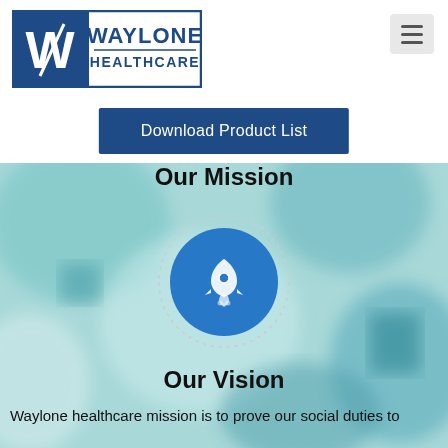[Figure (logo): Waylone Healthcare logo with W monogram and text]
[Figure (other): Hamburger menu button (three horizontal lines)]
Download Product List
Our Mission
[Figure (illustration): Blue circle with white rocket icon, surrounded by dotted ring on teal background]
Our Vision
Waylone healthcare mission is to prove our social duties to